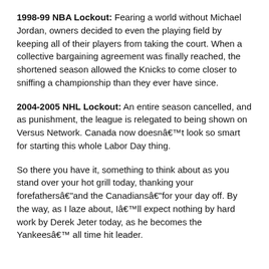1998-99 NBA Lockout: Fearing a world without Michael Jordan, owners decided to even the playing field by keeping all of their players from taking the court. When a collective bargaining agreement was finally reached, the shortened season allowed the Knicks to come closer to sniffing a championship than they ever have since.
2004-2005 NHL Lockout: An entire season cancelled, and as punishment, the league is relegated to being shown on Versus Network. Canada now doesnât look so smart for starting this whole Labor Day thing.
So there you have it, something to think about as you stand over your hot grill today, thanking your forefathersâand the Canadiansâfor your day off. By the way, as I laze about, Iâll expect nothing by hard work by Derek Jeter today, as he becomes the Yankeesâ all time hit leader.